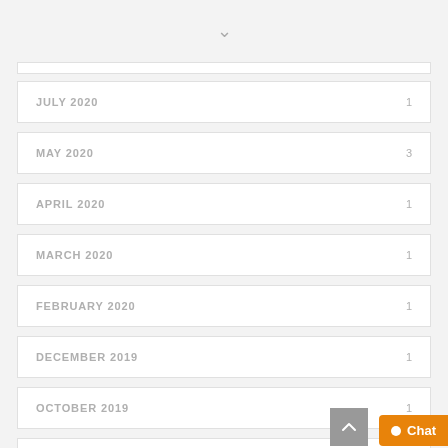JULY 2020  1
MAY 2020  3
APRIL 2020  1
MARCH 2020  1
FEBRUARY 2020  1
DECEMBER 2019  1
OCTOBER 2019  1
SEPTEMBER 2019  1
OCTOBER 2018  2